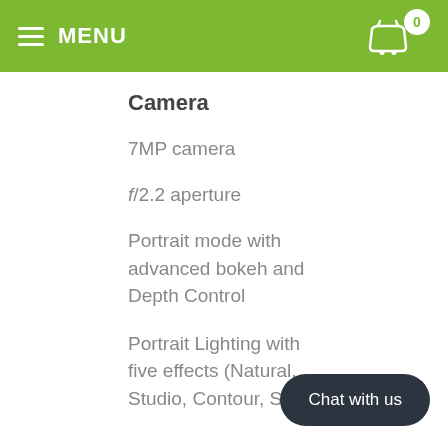MENU
Camera
7MP camera
f/2.2 aperture
Portrait mode with advanced bokeh and Depth Control
Portrait Lighting with five effects (Natural, Studio, Contour, Stage,